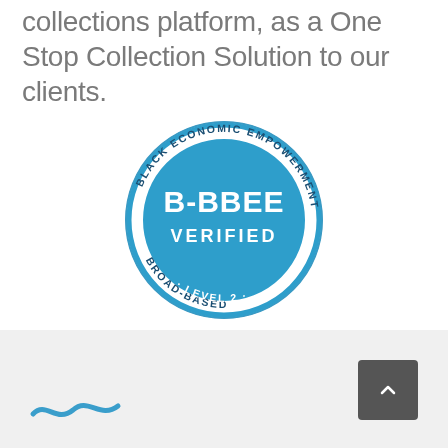collections platform, as a One Stop Collection Solution to our clients.
[Figure (logo): B-BBEE Verified Level 2 circular badge. Blue circle with white text 'B-BBEE VERIFIED' in center. Outer ring text reads 'BROAD-BASED BLACK ECONOMIC EMPOWERMENT · LEVEL 2 ·']
[Figure (logo): Wavy blue tilde/wave logo mark in bottom left of footer area]